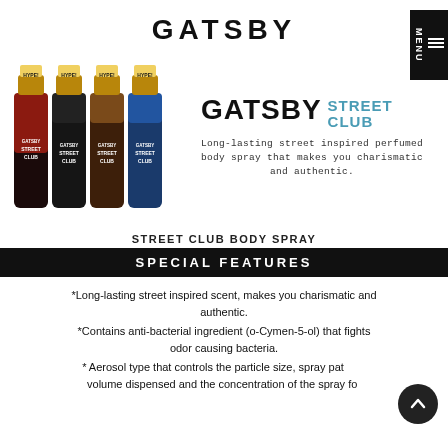GATSBY
[Figure (photo): Four GATSBY Street Club body spray cans (red, black, brown, blue) with HYPE! caps, standing in a row]
[Figure (logo): GATSBY STREET CLUB logo with teal/blue STREET CLUB text]
Long-lasting street inspired perfumed body spray that makes you charismatic and authentic.
STREET CLUB BODY SPRAY
SPECIAL FEATURES
*Long-lasting street inspired scent, makes you charismatic and authentic.
*Contains anti-bacterial ingredient (o-Cymen-5-ol) that fights odor causing bacteria.
* Aerosol type that controls the particle size, spray pattern, volume dispensed and the concentration of the spray for more effective application.